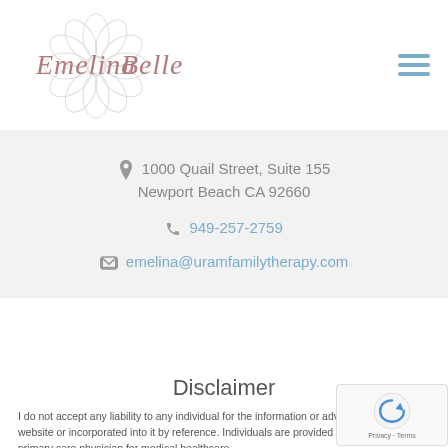[Figure (logo): Emelina Belle logo with decorative mandala/flower watermark and cursive script text]
[Figure (illustration): Hamburger menu icon — three horizontal blue lines]
1000 Quail Street, Suite 155
Newport Beach CA 92660
949-257-2759
emelina@uramfamilytherapy.com
Disclaimer
I do not accept any liability to any individual for the information or advice provided on the website or incorporated into it by reference. Individuals are provided a referral to their primary care physician for medical healthcare